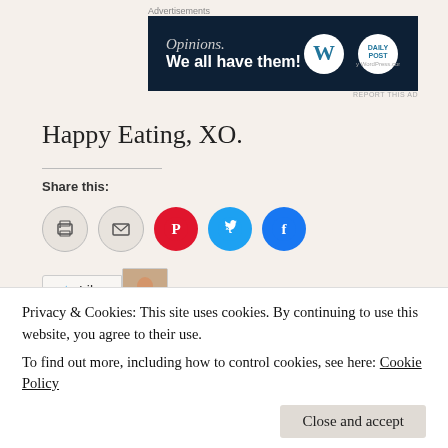Advertisements
[Figure (other): WordPress advertisement banner with dark navy background, text 'Opinions. We all have them!' and WordPress/DailyPost logos]
REPORT THIS AD
Happy Eating, XO.
Share this:
[Figure (other): Share buttons: print, email, Pinterest, Twitter, Facebook circle icons]
[Figure (other): Like button with star icon and user avatar thumbnail]
Privacy & Cookies: This site uses cookies. By continuing to use this website, you agree to their use.
To find out more, including how to control cookies, see here: Cookie Policy
Close and accept
peppers, snack, tahini, wraps • Leave a comment